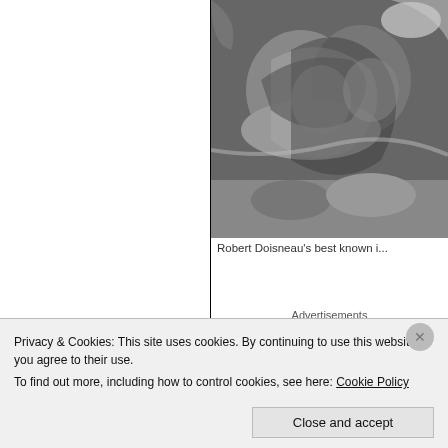[Figure (photo): Black and white photo, appears to show an intimate scene, cropped — Robert Doisneau photograph]
Robert Doisneau's best known i...
Advertisements
If, like me, you know Doisneau mostly th... Ville, and the minor controversy that er... there's a lot to uncover here. During his li... French women voting for the first time in... celebrities, and created some intriguing p...
Privacy & Cookies: This site uses cookies. By continuing to use this website, you agree to their use.
To find out more, including how to control cookies, see here: Cookie Policy
Close and accept